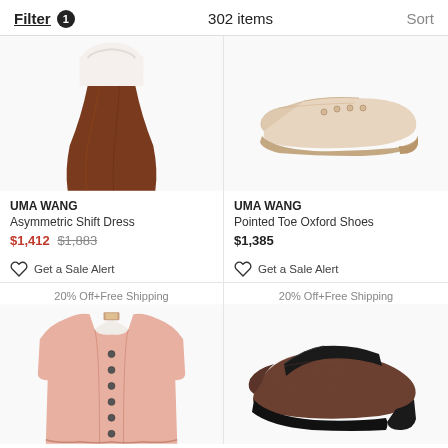Filter 1   302 items   Sort
[Figure (photo): UMA WANG Asymmetric Shift Dress - white top with brown flowing skirt]
UMA WANG
Asymmetric Shift Dress
$1,412 $1,883
Get a Sale Alert
[Figure (photo): UMA WANG Pointed Toe Oxford Shoes - beige/cream leather oxford shoe]
UMA WANG
Pointed Toe Oxford Shoes
$1,385
Get a Sale Alert
20% Off+Free Shipping
[Figure (photo): Light pink cardigan with buttons]
20% Off+Free Shipping
[Figure (photo): Brown suede Mary Jane heels with black strap]